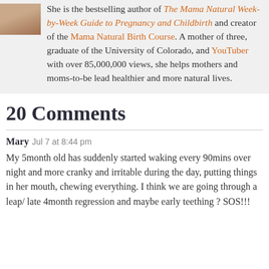She is the bestselling author of The Mama Natural Week-by-Week Guide to Pregnancy and Childbirth and creator of the Mama Natural Birth Course. A mother of three, graduate of the University of Colorado, and YouTuber with over 85,000,000 views, she helps mothers and moms-to-be lead healthier and more natural lives.
20 Comments
Mary  Jul 7 at 8:44 pm
My 5month old has suddenly started waking every 90mins over night and more cranky and irritable during the day, putting things in her mouth, chewing everything. I think we are going through a leap/ late 4month regression and maybe early teething ? SOS!!!